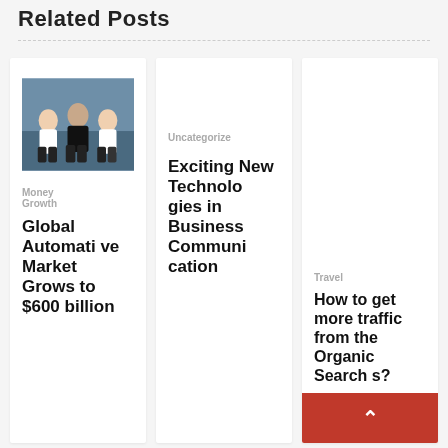Related Posts
[Figure (photo): Photo of three men sitting together]
Money Growth
Global Automotive Market Grows to $600 billion
Uncategorize
Exciting New Technologies in Business Communication
Travel
How to get more traffic from the Organic Search...?